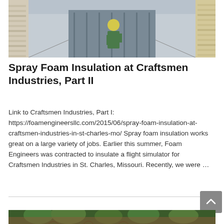[Figure (photo): Interior of a container or building being spray foam insulated, showing a worker in yellow safety vest applying foam insulation to walls and ceiling]
Spray Foam Insulation at Craftsmen Industries, Part II
Link to Craftsmen Industries, Part I: https://foamengineersllc.com/2015/06/spray-foam-insulation-at-craftsmen-industries-in-st-charles-mo/ Spray foam insulation works great on a large variety of jobs. Earlier this summer, Foam Engineers was contracted to insulate a flight simulator for Craftsmen Industries in St. Charles, Missouri. Recently, we were …
[Figure (photo): Partial view of a brick building with trees in front, bottom of page]